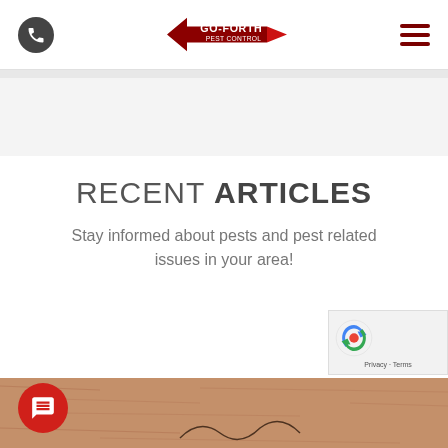Go-Forth Pest Control header with phone icon, logo, and hamburger menu
RECENT ARTICLES
Stay informed about pests and pest related issues in your area!
[Figure (photo): Close-up photo of textured brown leather or skin surface with a signature/scribble visible at the bottom, partially cropped. A red chat bubble icon is overlaid on the lower left.]